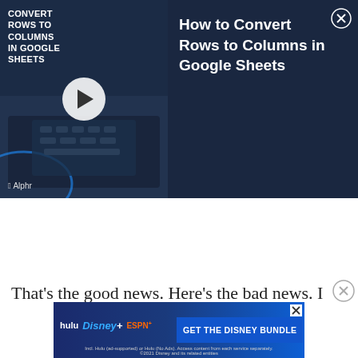[Figure (screenshot): Video card for 'How to Convert Rows to Columns in Google Sheets' with dark navy background. Left side shows a thumbnail with the title text overlaid, a circular play button, a laptop keyboard image, and the Alphr logo. Right side shows the full article title in white text and a close (X) button.]
That's the good news. Here's the bad news. I
[Figure (screenshot): Disney Bundle advertisement banner showing Hulu, Disney+, and ESPN+ logos on a blue gradient background, with a 'GET THE DISNEY BUNDLE' call-to-action button, fine print text, and a close button.]